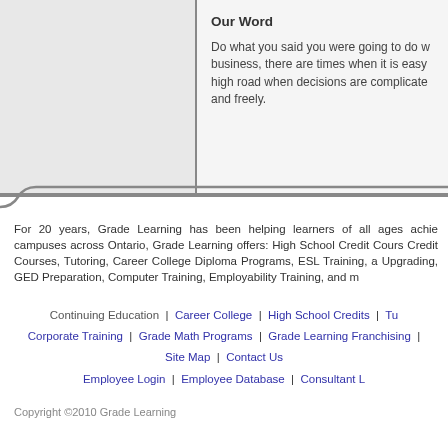Our Word
Do what you said you were going to do w... business, there are times when it is easy... high road when decisions are complicate... and freely.
For 20 years, Grade Learning has been helping learners of all ages achie... campuses across Ontario, Grade Learning offers: High School Credit Cours... Credit Courses, Tutoring, Career College Diploma Programs, ESL Training, a... Upgrading, GED Preparation, Computer Training, Employability Training, and m...
Continuing Education | Career College | High School Credits | Tu... Corporate Training | Grade Math Programs | Grade Learning Franchising | Site Map | Contact Us
Employee Login | Employee Database | Consultant L...
Copyright ©2010 Grade Learning